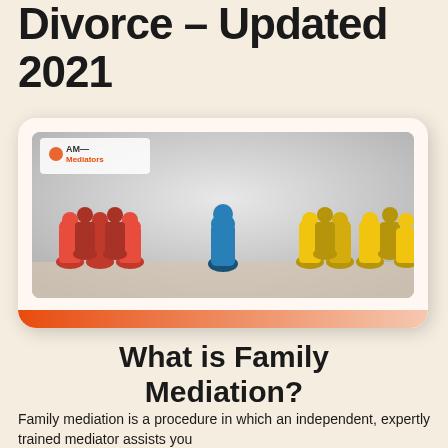Divorce – Updated 2021
[Figure (illustration): AM Mediators branded banner image showing red game pieces on the left, a single blue game piece in the center, and yellow game pieces on the right, representing mediation between two parties.]
What is Family Mediation?
Family mediation is a procedure in which an independent, expertly trained mediator assists you